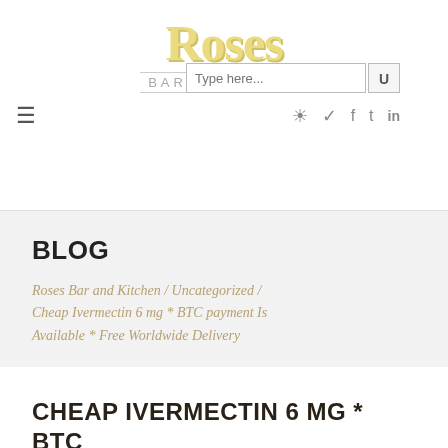[Figure (logo): Roses Bar and Kitchen logo with yellow decorative lettering and social media icons]
BLOG
Roses Bar and Kitchen / Uncategorized / Cheap Ivermectin 6 mg * BTC payment Is Available * Free Worldwide Delivery
CHEAP IVERMECTIN 6 MG * BTC PAYMENT IS AVAILABLE * FREE WORLDWIDE DELIVERY
by Sendinblue / Uncategorized / March 4, 2018